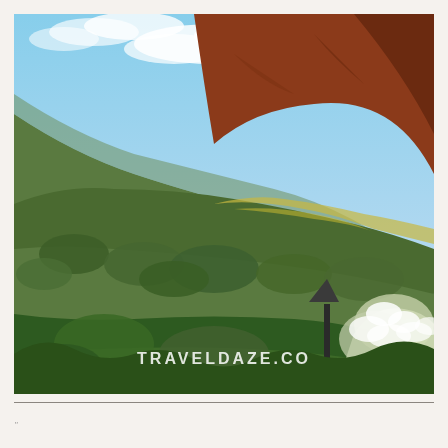[Figure (photo): Landscape photograph of rolling hills with reddish-brown earth tones at top, green sagebrush and yellow wildflowers on hillside, blue sky with clouds in background. A dark trail marker post with arrow is visible on the right side. Watermark text 'TRAVELDAZE.CO' appears at the bottom center of the image.]